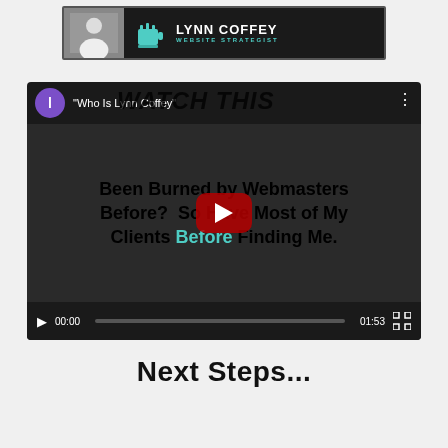[Figure (logo): Lynn Coffey Website Strategist banner with dark background, person photo and teal coffee cup logo]
[Figure (screenshot): YouTube video embed titled 'Who Is Lynn Coffey' with text 'Been Burned by Webmasters Before? So Have Most of My Clients Before Finding Me.' with YouTube play button overlay and video controls showing 00:00 / 01:53]
Next Steps...